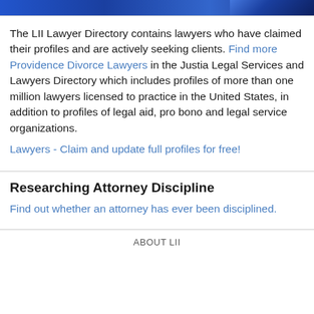The LII Lawyer Directory contains lawyers who have claimed their profiles and are actively seeking clients. Find more Providence Divorce Lawyers in the Justia Legal Services and Lawyers Directory which includes profiles of more than one million lawyers licensed to practice in the United States, in addition to profiles of legal aid, pro bono and legal service organizations.
Lawyers - Claim and update full profiles for free!
Researching Attorney Discipline
Find out whether an attorney has ever been disciplined.
ABOUT LII